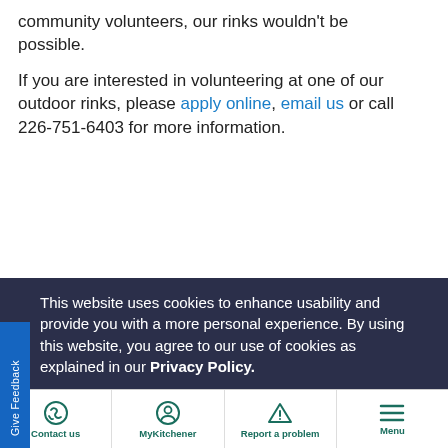community volunteers, our rinks wouldn't be possible.

If you are interested in volunteering at one of our outdoor rinks, please apply online, email us or call 226-751-6403 for more information.
This website uses cookies to enhance usability and provide you with a more personal experience. By using this website, you agree to our use of cookies as explained in our Privacy Policy.
Agree
Contact us | MyKitchener | Report a problem | Menu